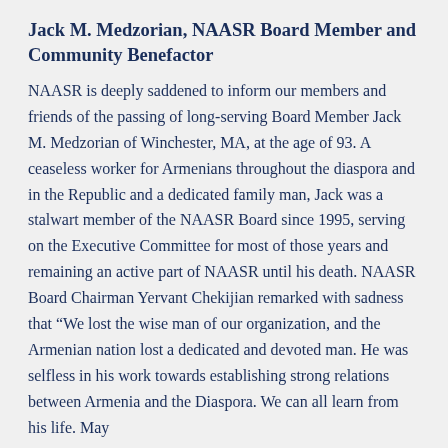Jack M. Medzorian, NAASR Board Member and Community Benefactor
NAASR is deeply saddened to inform our members and friends of the passing of long-serving Board Member Jack M. Medzorian of Winchester, MA, at the age of 93. A ceaseless worker for Armenians throughout the diaspora and in the Republic and a dedicated family man, Jack was a stalwart member of the NAASR Board since 1995, serving on the Executive Committee for most of those years and remaining an active part of NAASR until his death. NAASR Board Chairman Yervant Chekijian remarked with sadness that “We lost the wise man of our organization, and the Armenian nation lost a dedicated and devoted man. He was selfless in his work towards establishing strong relations between Armenia and the Diaspora. We can all learn from his life. May